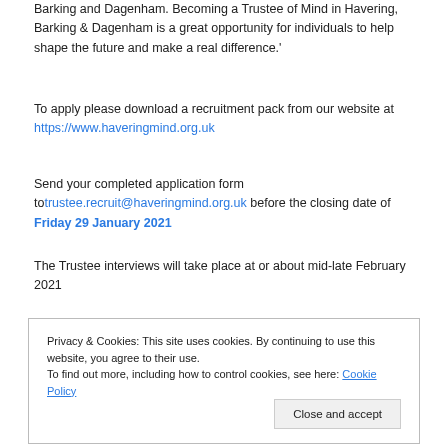Barking and Dagenham. Becoming a Trustee of Mind in Havering, Barking & Dagenham is a great opportunity for individuals to help shape the future and make a real difference.'
To apply please download a recruitment pack from our website at https://www.haveringmind.org.uk
Send your completed application form to trustee.recruit@haveringmind.org.uk before the closing date of Friday 29 January 2021
The Trustee interviews will take place at or about mid-late February 2021
Privacy & Cookies: This site uses cookies. By continuing to use this website, you agree to their use. To find out more, including how to control cookies, see here: Cookie Policy
Close and accept